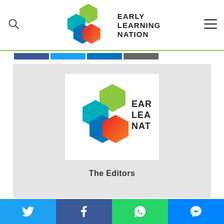[Figure (logo): Early Learning Nation logo with hexagonal shapes in green, teal, blue and red/orange, beside the text EARLY LEARNING NATION]
[Figure (screenshot): Website screenshot showing Early Learning Nation logo centered in a light gray card with author name 'The Editors' below, with navigation bar and social share buttons]
The Editors